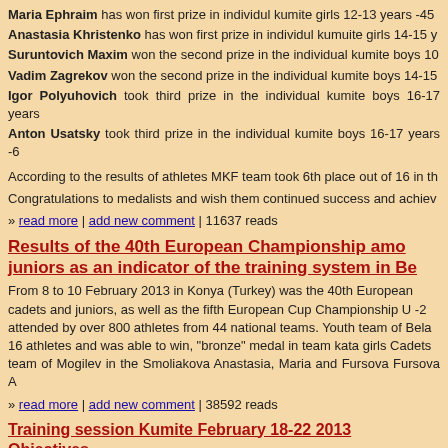Maria Ephraim has won first prize in individul kumite girls 12-13 years -45
Anastasia Khristenko has won first prize in individul kumuite girls 14-15 y
Suruntovich Maxim won the second prize in the individual kumite boys 10
Vadim Zagrekov won the second prize in the individual kumite boys 14-15
Igor Polyuhovich took third prize in the individual kumite boys 16-17 years
Anton Usatsky took third prize in the individual kumite boys 16-17 years -6
According to the results of athletes MKF team took 6th place out of 16 in th
Congratulations to medalists and wish them continued success and achiev
» read more | add new comment | 11637 reads
Results of the 40th European Championship amo juniors as an indicator of the training system in Be
From 8 to 10 February 2013 in Konya (Turkey) was the 40th European cadets and juniors, as well as the fifth European Cup Championship U -2 attended by over 800 athletes from 44 national teams. Youth team of Bela 16 athletes and was able to win, "bronze" medal in team kata girls Cadets team of Mogilev in the Smoliakova Anastasia, Maria and Fursova Fursova A
» read more | add new comment | 38592 reads
Training session Kumite February 18-22 2013 Objectives.
training teams in Minsk to participate in the Competition on karate in 2013 held "Belarusian Karate Federation».
Promoting healthy lifestyles among young people.
mastering sporting athletes and coaches in Minsk.